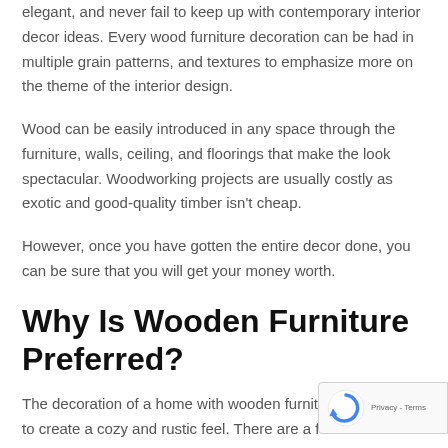elegant, and never fail to keep up with contemporary interior decor ideas. Every wood furniture decoration can be had in multiple grain patterns, and textures to emphasize more on the theme of the interior design.
Wood can be easily introduced in any space through the furniture, walls, ceiling, and floorings that make the look spectacular. Woodworking projects are usually costly as exotic and good-quality timber isn't cheap.
However, once you have gotten the entire decor done, you can be sure that you will get your money worth.
Why Is Wooden Furniture Preferred?
The decoration of a home with wooden furniture is pe… to create a cozy and rustic feel. There are a few wood materials that offer a warm indulgence, like teak…